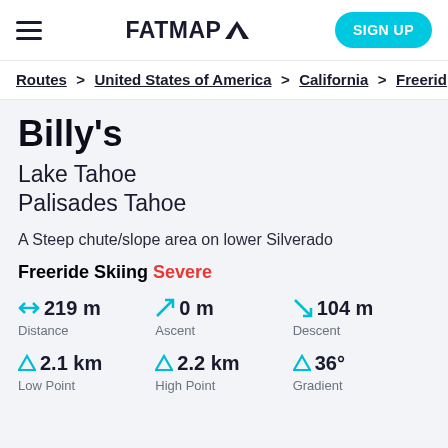FATMAP — SIGN UP
Routes > United States of America > California > Freeride
Billy's
Lake Tahoe
Palisades Tahoe
A Steep chute/slope area on lower Silverado
Freeride Skiing Severe
| Distance | Ascent | Descent | Low Point | High Point | Gradient |
| --- | --- | --- | --- | --- | --- |
| 219 m | 0 m | 104 m | 2.1 km | 2.2 km | 36° |